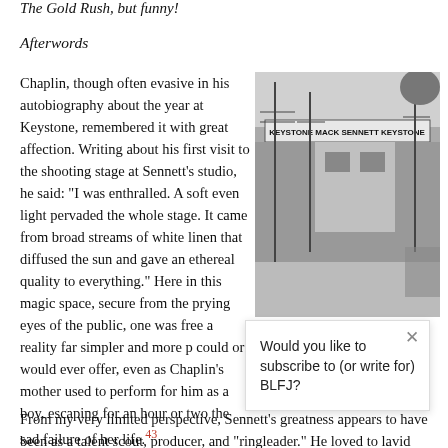The Gold Rush, but funny!
Afterwords
Chaplin, though often evasive in his autobiography about the year at Keystone, remembered it with great affection. Writing about his first visit to the shooting stage at Sennett's studio, he said: "I was enthralled. A soft even light pervaded the whole stage. It came from broad streams of white linen that diffused the sun and gave an ethereal quality to everything." Here in this magic space, secure from the prying eyes of the public, one was free a reality far simpler and more p could or would ever offer, even as Chaplin's mother used to perform for him as a boy, escaping for an hour or two the sad failure of her life.
[Figure (photo): Black and white photograph of the Mack Sennett Keystone studio exterior, showing a building with signage reading KEYSTONE MACK SENNETT KEYSTONE, with utility poles and street visible.]
BL
Would you like to subscribe to (or write for) BLFJ?
From my very limited perspective, Sennett's greatness appears to have been as a talent scout, producer, and "ringleader." He loved to lavish his enthusiasm for his stars' performances pushed them forward. "He